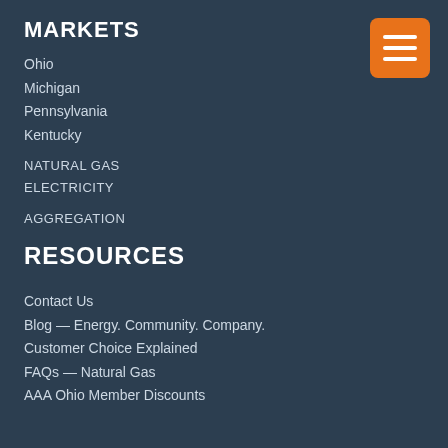MARKETS
Ohio
Michigan
Pennsylvania
Kentucky
NATURAL GAS
ELECTRICITY
AGGREGATION
RESOURCES
Contact Us
Blog — Energy. Community. Company.
Customer Choice Explained
FAQs — Natural Gas
AAA Ohio Member Discounts